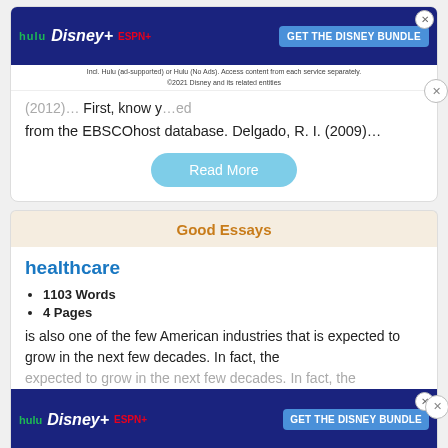[Figure (screenshot): Hulu Disney+ ESPN+ advertisement banner at top of page]
(2012)… First, know y… from the EBSCOhost database. Delgado, R. I. (2009)…
Read More
Good Essays
healthcare
1103 Words
4 Pages
is also one of the few American industries that is expected to grow in the next few decades. In fact, the healthcare industry is expected to generate 3,2 million… more than any other American industry. It is not only a large
[Figure (screenshot): Hulu Disney+ ESPN+ advertisement banner at bottom of page]